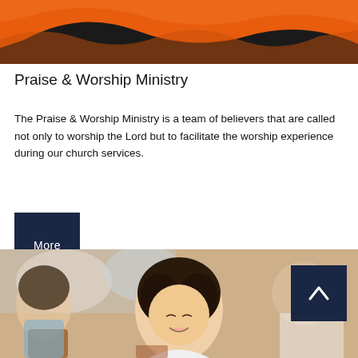[Figure (photo): Close-up photo of an orange fabric or banner item against a dark background]
Praise & Worship Ministry
The Praise & Worship Ministry is a team of believers that are called not only to worship the Lord but to facilitate the worship experience during our church services.
[Figure (other): Dark navy blue button with white text reading 'More']
[Figure (photo): Photo of young school children sitting at desks in a classroom, with a girl in focus smiling with eyes closed]
[Figure (other): Dark navy blue back-to-top button with upward chevron arrow icon]